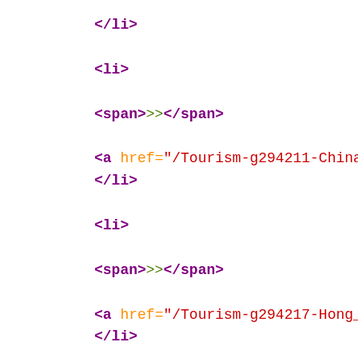</li>
<li>
<span>>></span>
<a href="/Tourism-g294211-China-Vacations.h
</li>
<li>
<span>>></span>
<a href="/Tourism-g294217-Hong_Kong-Vacatio
</li>
<li>
<span>>></span>
<a href="/Attractions-g294217-Activities-Ho
</li>
<li>
<span>>></span>
Empire���� </li>